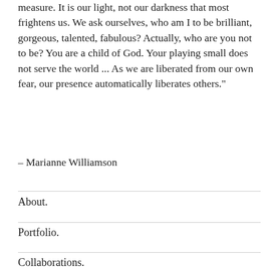measure. It is our light, not our darkness that most frightens us. We ask ourselves, who am I to be brilliant, gorgeous, talented, fabulous? Actually, who are you not to be? You are a child of God. Your playing small does not serve the world ... As we are liberated from our own fear, our presence automatically liberates others."
– Marianne Williamson
About.
Portfolio.
Collaborations.